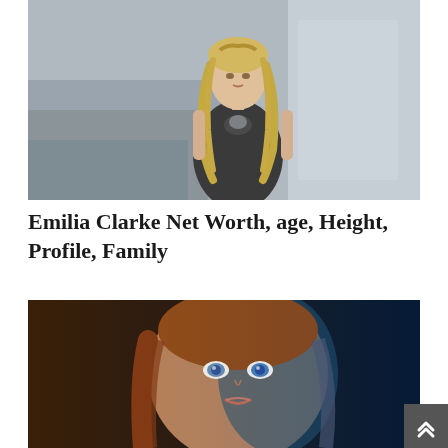[Figure (photo): A blonde woman in a dark sleeveless dress with a keyhole neckline stands in front of stone steps. She has long wavy blonde hair with braids. This appears to be a promotional photo from Game of Thrones featuring Emilia Clarke as Daenerys Targaryen.]
Emilia Clarke Net Worth, age, Height, Profile, Family
[Figure (photo): A woman with auburn/red hair lit dramatically with blue and warm lighting, creating a split lighting effect. Dark background. Likely another promotional or artistic portrait related to Game of Thrones.]